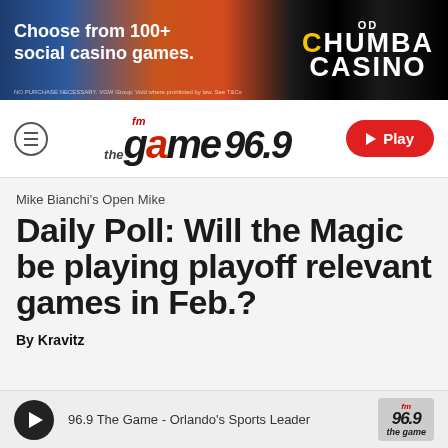[Figure (other): Chumba Casino advertisement banner: 'Choose from 100+ social casino games.' with colorful game imagery and Chumba Casino logo]
[Figure (logo): FM 96.9 The Game radio station logo with hamburger menu icon on left and red Play button on right]
Mike Bianchi's Open Mike
Daily Poll: Will the Magic be playing playoff relevant games in Feb.?
By Kravitz
[Figure (other): Audio player bar: 96.9 The Game - Orlando's Sports Leader with play button and station logo]